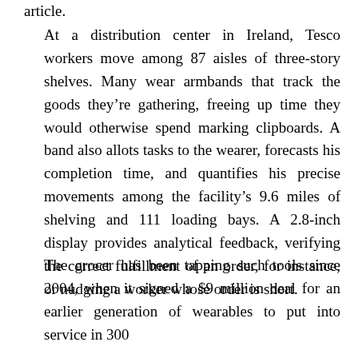article.
At a distribution center in Ireland, Tesco workers move among 87 aisles of three-story shelves. Many wear armbands that track the goods they're gathering, freeing up time they would otherwise spend marking clipboards. A band also allots tasks to the wearer, forecasts his completion time, and quantifies his precise movements among the facility's 9.6 miles of shelving and 111 loading bays. A 2.8-inch display provides analytical feedback, verifying the correct fulfillment of an order, for instance, or nudging a worker whose order is short.
The grocer has been tapping such tools since 2004, when it signed a $9 million deal for an earlier generation of wearables to put into service in 300 locations across the UK. The efficiency gains it has...